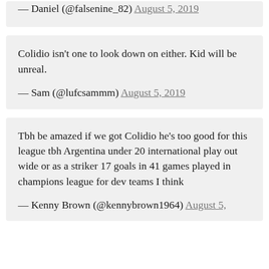— Daniel (@falsenine_82) August 5, 2019
Colidio isn't one to look down on either. Kid will be unreal.
— Sam (@lufcsammm) August 5, 2019
Tbh be amazed if we got Colidio he's too good for this league tbh Argentina under 20 international play out wide or as a striker 17 goals in 41 games played in champions league for dev teams I think
— Kenny Brown (@kennybrown1964) August 5,